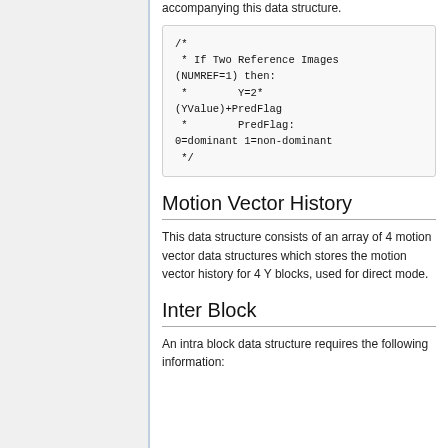accompanying this data structure.
/*
 * If Two Reference Images (NUMREF=1) then:
 *        Y=2*(YValue)+PredFlag
 *        PredFlag: 0=dominant 1=non-dominant
 */
Motion Vector History
This data structure consists of an array of 4 motion vector data structures which stores the motion vector history for 4 Y blocks, used for direct mode.
Inter Block
An intra block data structure requires the following information: